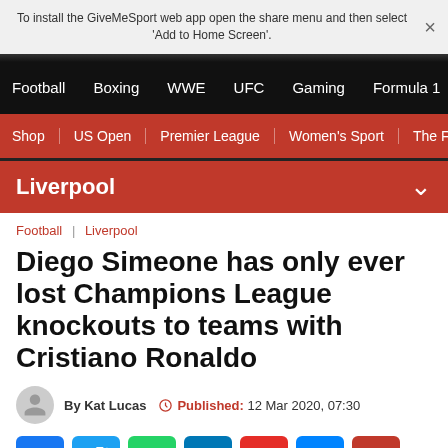To install the GiveMeSport web app open the share menu and then select 'Add to Home Screen'.
Football | Boxing | WWE | UFC | Gaming | Formula 1
Shop | US Open | Premier League | Women's Sport | The Fo
Liverpool
Football | Liverpool
Diego Simeone has only ever lost Champions League knockouts to teams with Cristiano Ronaldo
By Kat Lucas  Published: 12 Mar 2020, 07:30
[Figure (other): Social sharing icons: Facebook, Twitter, WhatsApp, LinkedIn, Flipboard, Messenger, Email]